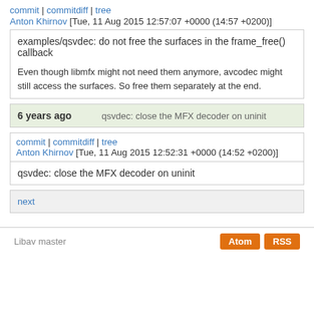commit | commitdiff | tree
Anton Khirnov [Tue, 11 Aug 2015 12:57:07 +0000 (14:57 +0200)]
examples/qsvdec: do not free the surfaces in the frame_free() callback

Even though libmfx might not need them anymore, avcodec might still access the surfaces. So free them separately at the end.
6 years ago   qsvdec: close the MFX decoder on uninit
commit | commitdiff | tree
Anton Khirnov [Tue, 11 Aug 2015 12:52:31 +0000 (14:52 +0200)]
qsvdec: close the MFX decoder on uninit
next
Libav master   Atom  RSS